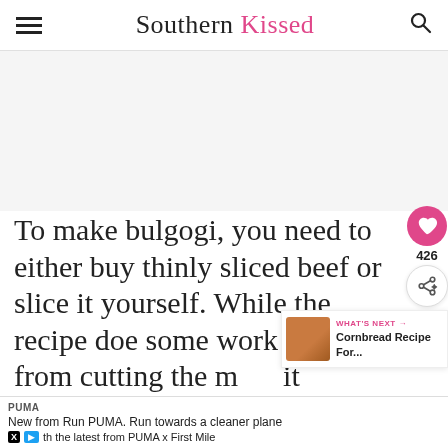Southern Kissed
[Figure (other): Gray placeholder/ad image area]
To make bulgogi, you need to either buy thinly sliced beef or slice it yourself. While the recipe doe some work that spans from cutting the m it
PUMA
New from Run PUMA. Run towards a cleaner plane th the latest from PUMA x First Mile